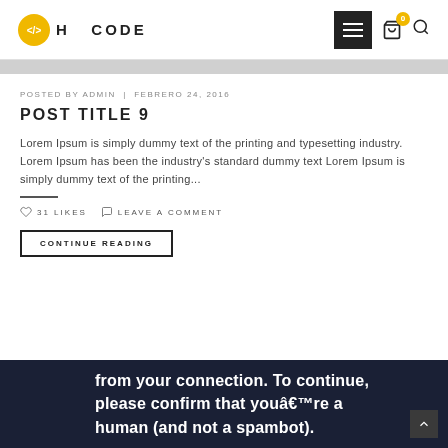H CODE
POSTED BY ADMIN | FEBRERO 24, 2016
POST TITLE 9
Lorem Ipsum is simply dummy text of the printing and typesetting industry. Lorem Ipsum has been the industry's standard dummy text Lorem Ipsum is simply dummy text of the printing...
31 LIKES   LEAVE A COMMENT
CONTINUE READING
from your connection. To continue, please confirm that youâ€™re a human (and not a spambot).